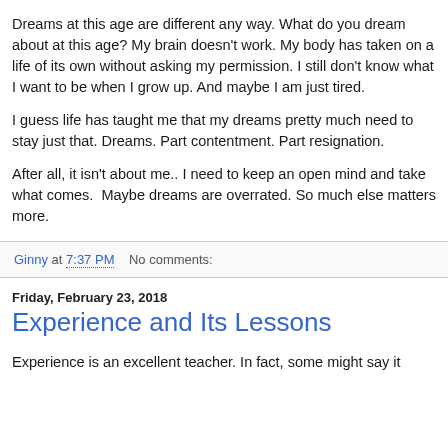Dreams at this age are different any way. What do you dream about at this age? My brain doesn't work. My body has taken on a life of its own without asking my permission. I still don't know what I want to be when I grow up. And maybe I am just tired.
I guess life has taught me that my dreams pretty much need to stay just that. Dreams. Part contentment. Part resignation.
After all, it isn't about me.. I need to keep an open mind and take what comes.  Maybe dreams are overrated. So much else matters more.
Ginny at 7:37 PM    No comments:
Friday, February 23, 2018
Experience and Its Lessons
Experience is an excellent teacher. In fact, some might say it